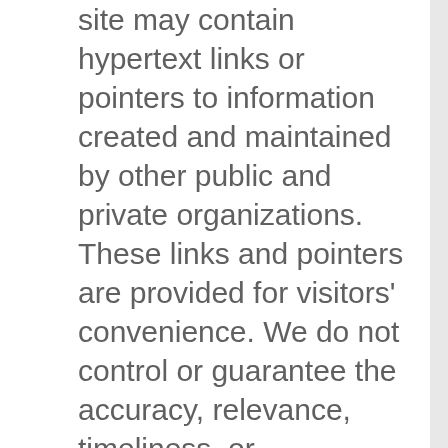site may contain hypertext links or pointers to information created and maintained by other public and private organizations. These links and pointers are provided for visitors' convenience. We do not control or guarantee the accuracy, relevance, timeliness, or completeness of any linked information. Further, the inclusion of links or pointers to other Web sites or agencies is not intended to assign importance to those sites and the information contained therein, nor is it intended to endorse, recommend, or favor any views expressed